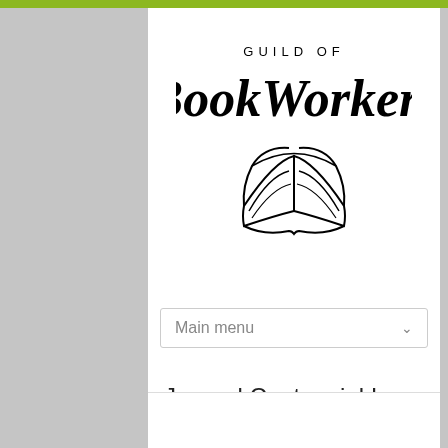[Figure (logo): Guild of BookWorkers logo with calligraphic text and open book illustration]
Main menu
Journal Centennial Issue // Richard Minsky
You are here: Home